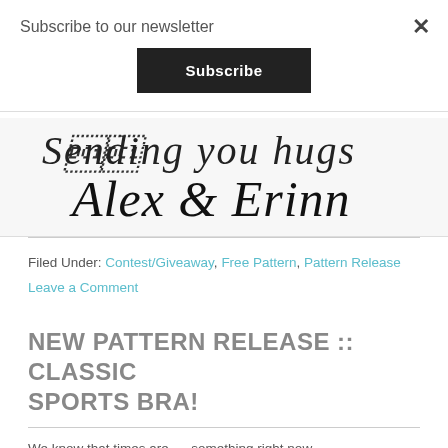Subscribe to our newsletter
Subscribe
[Figure (illustration): Cursive/script handwriting signature reading 'Alex & Erinn' in black ink on light grey background]
Filed Under: Contest/Giveaway, Free Pattern, Pattern Release
Leave a Comment
NEW PATTERN RELEASE :: CLASSIC SPORTS BRA!
We know that times are    something right now